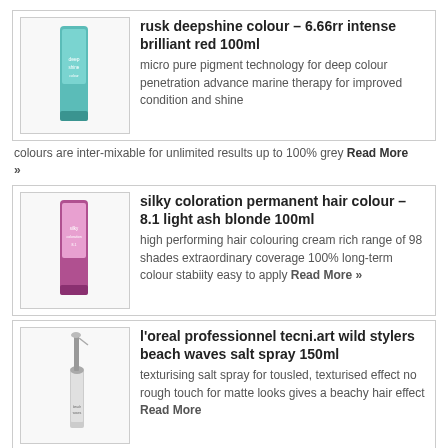[Figure (photo): Product image of rusk deepshine colour hair dye tube in teal/turquoise packaging]
rusk deepshine colour – 6.66rr intense brilliant red 100ml
micro pure pigment technology for deep colour penetration advance marine therapy for improved condition and shine colours are inter-mixable for unlimited results up to 100% grey Read More »
[Figure (photo): Product image of silky coloration permanent hair colour tube in pink/purple packaging]
silky coloration permanent hair colour – 8.1 light ash blonde 100ml
high performing hair colouring cream rich range of 98 shades extraordinary coverage 100% long-term colour stabiity easy to apply Read More »
[Figure (photo): Product image of l'oreal professionnel tecni.art wild stylers beach waves salt spray bottle]
l'oreal professionnel tecni.art wild stylers beach waves salt spray 150ml
texturising salt spray for tousled, texturised effect no rough touch for matte looks gives a beachy hair effect Read More »